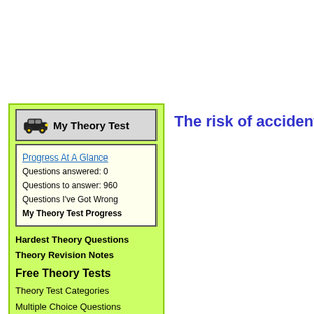The risk of accidents - som
[Figure (illustration): My Theory Test sidebar widget with car icon, progress stats, navigation links, and Hazards section]
My Theory Test
Progress At A Glance
Questions answered: 0
Questions to answer: 960
Questions I've Got Wrong
My Theory Test Progress
Hardest Theory Questions
Theory Revision Notes
Free Theory Tests
Theory Test Categories
Multiple Choice Questions
Question By Question
Random Question
Multiple Choice Explained
Hazards
Hazard Test Explained